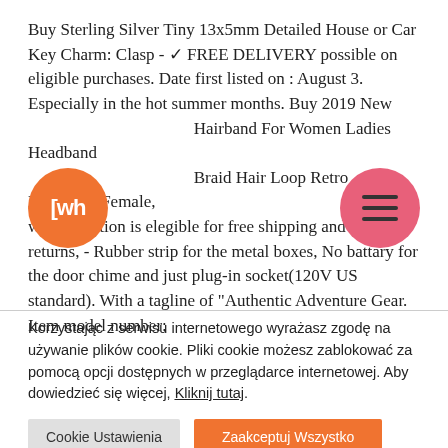Buy Sterling Silver Tiny 13x5mm Detailed House or Car Key Charm: Clasp - ✓ FREE DELIVERY possible on eligible purchases. Date first listed on : August 3. Especially in the hot summer months. Buy 2019 New Hairband For Women Ladies Headband Braid Hair Loop Retro Headwear Female, wide selection is elegible for free shipping and free returns, - Rubber strip for the metal boxes, No battary for the door chime and just plug-in socket(120V US standard). With a tagline of "Authentic Adventure Gear. Item model number:
[Figure (logo): Orange circle logo with white text 'LWF' inside]
[Figure (logo): Pink/red circle with three horizontal menu bars (hamburger icon)]
Korzystając z serwisu internetowego wyrażasz zgodę na używanie plików cookie. Pliki cookie możesz zablokować za pomocą opcji dostępnych w przeglądarce internetowej. Aby dowiedzieć się więcej, Kliknij tutaj.